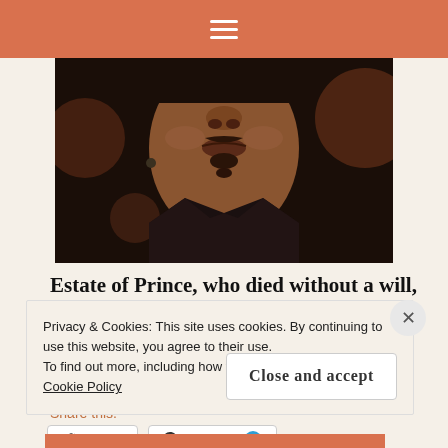☰
[Figure (photo): Close-up photo of Prince's face, partially cropped, showing from nose down. He has a thin mustache and goatee and is wearing a black jacket.]
Estate of Prince, who died without a will, finally settled; 50/50 split between publisher,...
The Grio
Share this:
Twitter   Pinterest 7
Privacy & Cookies: This site uses cookies. By continuing to use this website, you agree to their use.
To find out more, including how to control cookies, see here: Cookie Policy
Close and accept